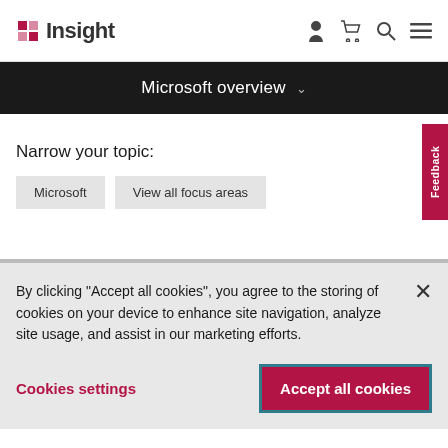Insight
Microsoft overview
Narrow your topic:
Microsoft
View all focus areas
By clicking “Accept all cookies”, you agree to the storing of cookies on your device to enhance site navigation, analyze site usage, and assist in our marketing efforts.
Cookies settings
Accept all cookies